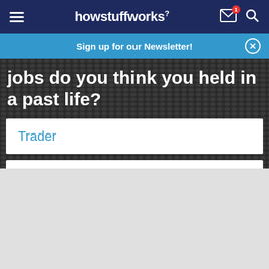howstuffworks
Sign up for our Newsletter!
jobs do you think you held in a past life?
Trader
Teacher
Nobleman